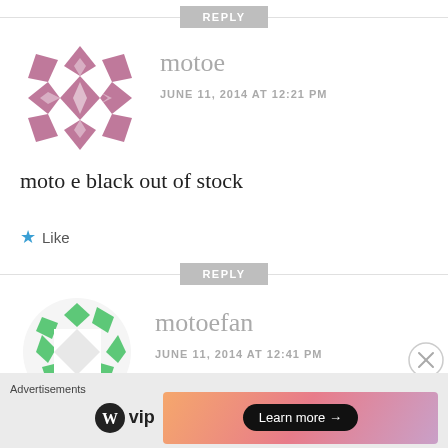[Figure (other): REPLY button with horizontal divider line]
[Figure (illustration): Purple geometric diamond/star pattern avatar for user motoe]
motoe
JUNE 11, 2014 AT 12:21 PM
moto e black out of stock
Like
[Figure (other): REPLY button with horizontal divider line]
[Figure (illustration): Green geometric wreath/circular pattern avatar for user motoefan]
motoefan
JUNE 11, 2014 AT 12:41 PM
Advertisements
[Figure (logo): WordPress VIP logo with circle-W icon and 'vip' text]
[Figure (other): Learn more advertisement button with gradient background]